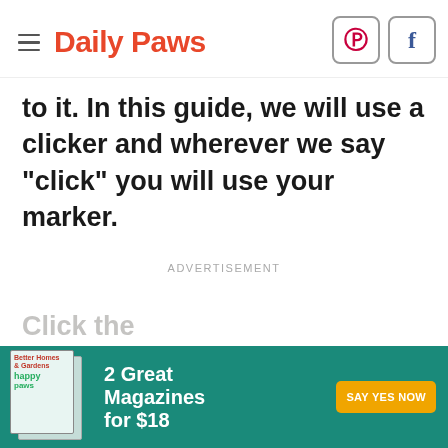Daily Paws
to it. In this guide, we will use a clicker and wherever we say "click" you will use your marker.
ADVERTISEMENT
[Figure (infographic): Advertisement banner for Better Homes & Gardens and Happy Paws magazines. Text reads: 2 Great Magazines for $18 with a SAY YES NOW button.]
Click